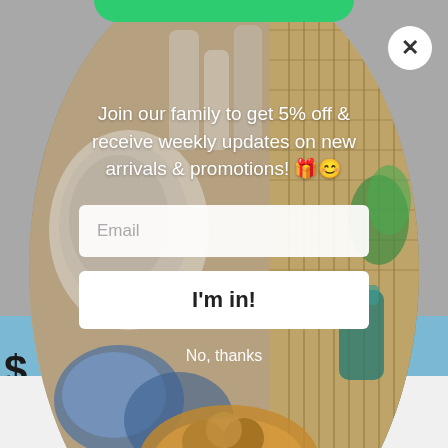[Figure (screenshot): E-commerce website popup modal over a background showing home goods/ceramics. Modal has a circular image background of pottery and tableware, a green top bar element, close (X) button, promotional text, email input field, 'I'm in!' button, 'No, thanks' link, a blue banner below, and footer logos for Afterpay and Zip payment services.]